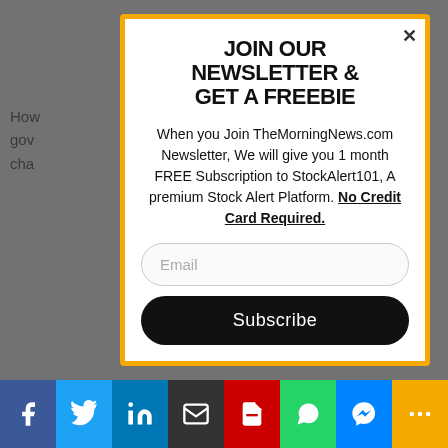How ... s, gov... cha...
JOIN OUR NEWSLETTER & GET A FREEBIE
When you Join TheMorningNews.com Newsletter, We will give you 1 month FREE Subscription to StockAlert101, A premium Stock Alert Platform. No Credit Card Required.
Email
Subscribe
Facebook | Twitter | LinkedIn | Email | PDF | WhatsApp | Messenger | More